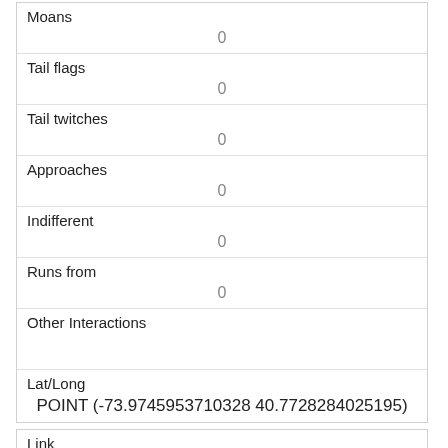| Moans | 0 |
| Tail flags | 0 |
| Tail twitches | 0 |
| Approaches | 0 |
| Indifferent | 0 |
| Runs from | 0 |
| Other Interactions |  |
| Lat/Long | POINT (-73.9745953710328 40.7728284025195) |
| Link | 750 |
| rowid | 750 |